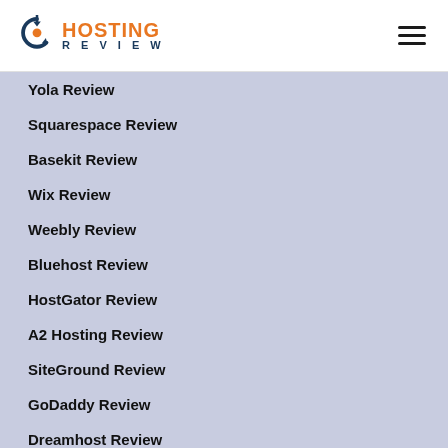Hosting Review
Yola Review
Squarespace Review
Basekit Review
Wix Review
Weebly Review
Bluehost Review
HostGator Review
A2 Hosting Review
SiteGround Review
GoDaddy Review
Dreamhost Review
IONOS Review